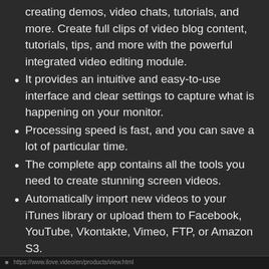creating demos, video chats, tutorials, and more. Create full clips of video blog content, tutorials, tips, and more with the powerful integrated video editing module.
It provides an intuitive and easy-to-use interface and clear settings to capture what is happening on your monitor.
Processing speed is fast, and you can save a lot of particular time.
The complete app contains all the tools you need to create stunning screen videos.
Automatically import new videos to your iTunes library or upload them to Facebook, YouTube, Vkontakte, Vimeo, FTP, or Amazon S3.
This allows you to record your voice, system sounds, or both at the same time.
https://www.ilove.video/en/products/view.html